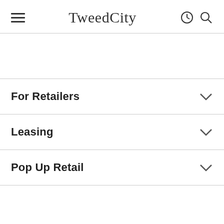TweedCity
For Retailers
Leasing
Pop Up Retail